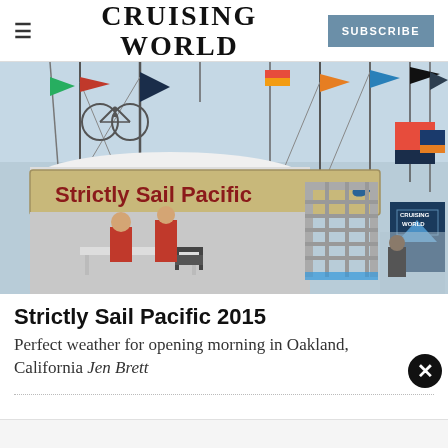CRUISING WORLD  SUBSCRIBE
[Figure (photo): Outdoor marina scene showing a white tent with a banner reading 'Strictly Sail Pacific' in red text on a tan/yellow background. Sailboat masts, colorful nautical flags, and a Cruising World banner visible in the background. Two people in red jackets are inside the tent near folding chairs and tables.]
Strictly Sail Pacific 2015
Perfect weather for opening morning in Oakland, California Jen Brett